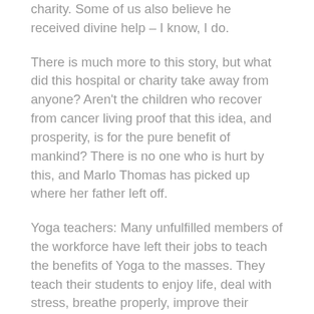charity. Some of us also believe he received divine help – I know, I do.
There is much more to this story, but what did this hospital or charity take away from anyone? Aren't the children who recover from cancer living proof that this idea, and prosperity, is for the pure benefit of mankind? There is no one who is hurt by this, and Marlo Thomas has picked up where her father left off.
Yoga teachers: Many unfulfilled members of the workforce have left their jobs to teach the benefits of Yoga to the masses. They teach their students to enjoy life, deal with stress, breathe properly, improve their posture, become aware of their bodies, and many more benefits.
Most Yoga teachers believe that all of the great Yoga jobs are in health clubs, ashrams, and Yoga studios.